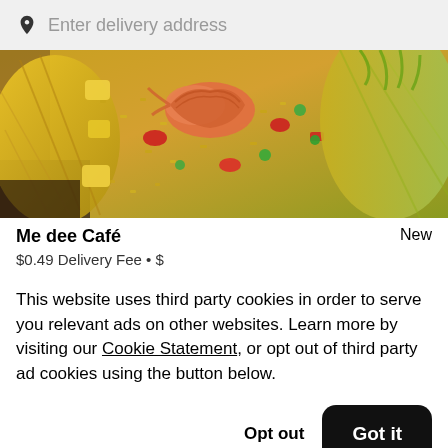Enter delivery address
[Figure (photo): Close-up photo of Thai pineapple fried rice with shrimp served inside a halved pineapple shell, with colorful vegetables]
Me dee Café
New
$0.49 Delivery Fee • $
This website uses third party cookies in order to serve you relevant ads on other websites. Learn more by visiting our Cookie Statement, or opt out of third party ad cookies using the button below.
Opt out
Got it